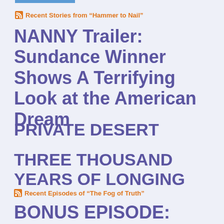Recent Stories from “Hammer to Nail”
NANNY Trailer: Sundance Winner Shows A Terrifying Look at the American Dream
PRIVATE DESERT
THREE THOUSAND YEARS OF LONGING
Recent Episodes of “The Fog of Truth”
BONUS EPISODE: Slamdance